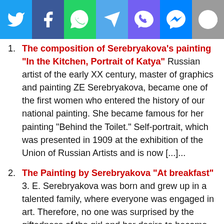[Figure (other): Social media sharing bar with icons for Twitter, Facebook, WhatsApp, Telegram, Viber, Messenger, and Reddit]
The composition of Serebryakova's painting "In the Kitchen, Portrait of Katya" Russian artist of the early XX century, master of graphics and painting ZE Serebryakova, became one of the first women who entered the history of our national painting. She became famous for her painting "Behind the Toilet." Self-portrait, which was presented in 1909 at the exhibition of the Union of Russian Artists and is now [...]...
The Painting by Serebryakova "At breakfast" 3. E. Serebryakova was born and grew up in a talented family, where everyone was engaged in art. Therefore, no one was surprised by the giftedness of the girl and her desire to become an artist. In the first works of E. E. Serebryakova there was an independent handwriting and style. At the